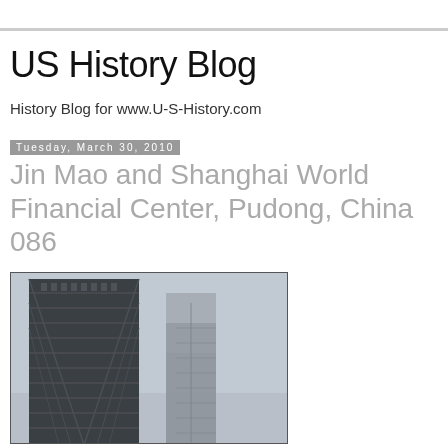US History Blog
History Blog for www.U-S-History.com
Tuesday, March 30, 2010
Jin Mao and Shanghai World Financial Center, Pudong, China 086
[Figure (photo): Upward-angle photograph of two tall skyscrapers in Pudong, China — the Jin Mao Tower (left, with distinctive tiered dark facade) and the Shanghai World Financial Center (right, tall rectangular tower disappearing into hazy sky)]